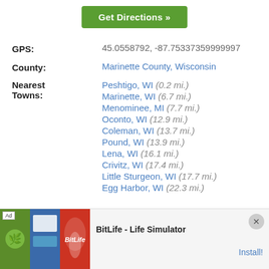[Figure (other): Green 'Get Directions »' button]
GPS: 45.0558792, -87.75337359999997
County: Marinette County, Wisconsin
Nearest Towns: Peshtigo, WI (0.2 mi.) Marinette, WI (6.7 mi.) Menominee, MI (7.7 mi.) Oconto, WI (12.9 mi.) Coleman, WI (13.7 mi.) Pound, WI (13.9 mi.) Lena, WI (16.1 mi.) Crivitz, WI (17.4 mi.) Little Sturgeon, WI (17.7 mi.) Egg Harbor, WI (22.3 mi.)
[Figure (screenshot): Ad banner for BitLife - Life Simulator with install button]